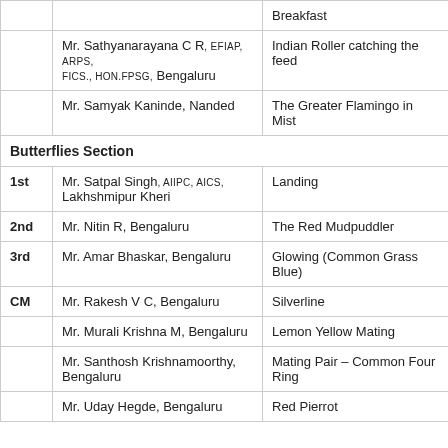|  | Name | Title |
| --- | --- | --- |
|  |  | Breakfast |
|  | Mr. Sathyanarayana C R, EFIAP,ARPS,FICS.,HON.FPSG, Bengaluru | Indian Roller catching the feed |
|  | Mr. Samyak Kaninde, Nanded | The Greater Flamingo in Mist |
| Butterflies Section |  |  |
| 1st | Mr. Satpal Singh, AIIPC,AICS, Lakhshmipur Kheri | Landing |
| 2nd | Mr. Nitin R, Bengaluru | The Red Mudpuddler |
| 3rd | Mr. Amar Bhaskar, Bengaluru | Glowing (Common Grass Blue) |
| CM | Mr. Rakesh V C, Bengaluru | Silverline |
|  | Mr. Murali Krishna M, Bengaluru | Lemon Yellow Mating |
|  | Mr. Santhosh Krishnamoorthy, Bengaluru | Mating Pair – Common Four Ring |
|  | Mr. Uday Hegde, Bengaluru | Red Pierrot |